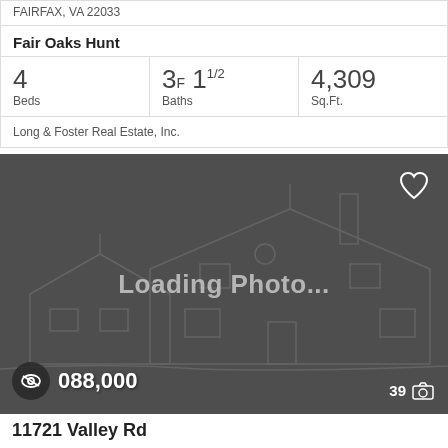FAIRFAX, VA 22033
Fair Oaks Hunt
| Beds | Baths | Sq.Ft. |
| --- | --- | --- |
| 4 | 3F 1 1/2 | 4,309 |
Long & Foster Real Estate, Inc.
[Figure (photo): Loading Photo placeholder with house outline illustration. Shows text 'Loading Photo...' with a heart icon in top right corner, price '...088,000' in bottom left with eye icon, and '39' photo count with camera icon in bottom right.]
11721 Valley Rd